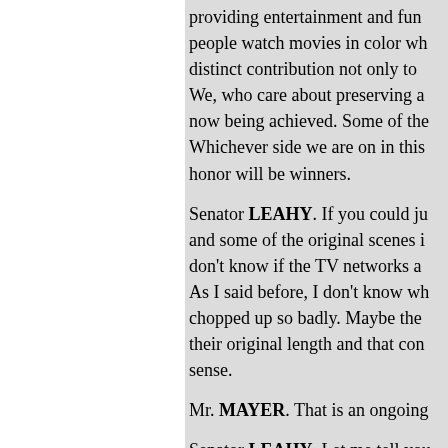providing entertainment and fun... people watch movies in color wh... distinct contribution not only to... We, who care about preserving a... now being achieved. Some of the... Whichever side we are on in this... honor will be winners.
Senator LEAHY. If you could ju... and some of the original scenes i... don't know if the TV networks a... As I said before, I don't know wh... chopped up so badly. Maybe the... their original length and that con... sense.
Mr. MAYER. That is an ongoing...
Senator LEAHY. Let me tell you... terribly. As I said before, I just d... the networks do to films. That is... of legislation.
Go ahead, Mr. Word.
« iepriekšējā